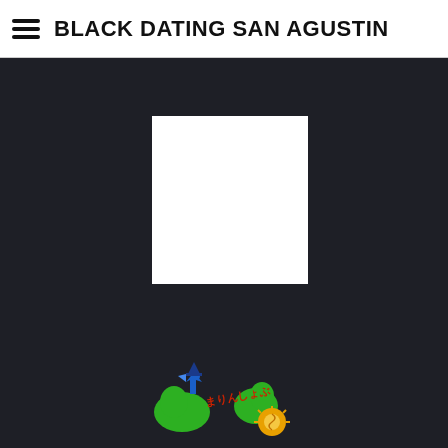BLACK DATING SAN AGUSTIN
[Figure (other): White blank rectangle placeholder image on dark background]
[Figure (logo): Colorful logo with cartoon characters including a blue bird/wizard, green landmasses, red Japanese text, and a golden sun/spiral, on dark background]